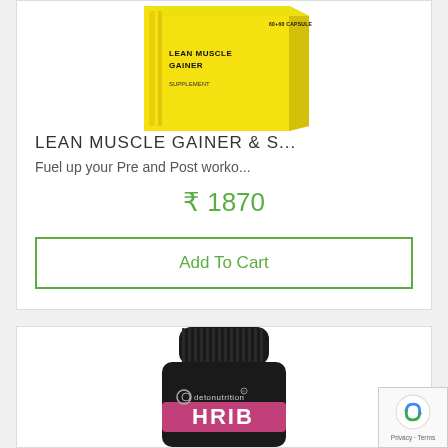[Figure (photo): Yellow supplement box product image (Lean Muscle Gainer) shown partially at top of first product card]
LEAN MUSCLE GAINER & S...
Fuel up your Pre and Post worko...
₹ 1870
Add To Cart
[Figure (photo): Black supplement bottle with detonutrition branding shown in second product card at bottom of page]
[Figure (other): reCAPTCHA badge with Privacy and Terms links in bottom right corner]